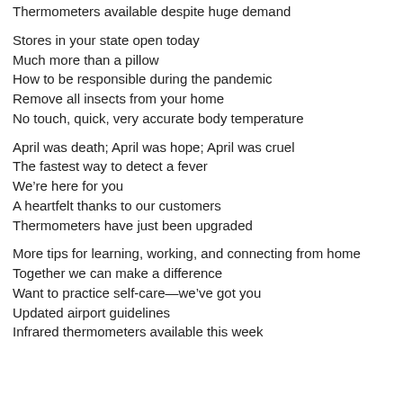Thermometers available despite huge demand
Stores in your state open today
Much more than a pillow
How to be responsible during the pandemic
Remove all insects from your home
No touch, quick, very accurate body temperature
April was death; April was hope; April was cruel
The fastest way to detect a fever
We’re here for you
A heartfelt thanks to our customers
Thermometers have just been upgraded
More tips for learning, working, and connecting from home
Together we can make a difference
Want to practice self-care—we’ve got you
Updated airport guidelines
Infrared thermometers available this week